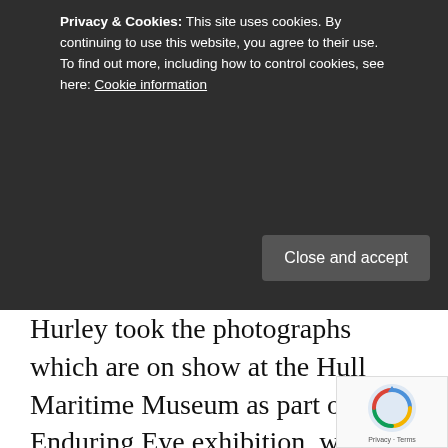Hurley took the photographs which are on show at the Hull Maritime Museum as part of the Enduring Eye exhibition, which documents the dangerous Imperial Trans-Antarctic Expedition led by renowned explorer Sir Ernest Shackleton from 1914 to 1917.
Places at the free talk were quickly snapped up – but due to its popularity, the museum is releasing an extra 40 tickets.
Alasdair MacLeod, the Royal Geographical Society's head of collections, will describe the role of Hurley as the photographer and filmmaker commissioned by Shackleton to chronicle the voyage. The talk also
Privacy & Cookies: This site uses cookies. By continuing to use this website, you agree to their use. To find out more, including how to control cookies, see here: Cookie information